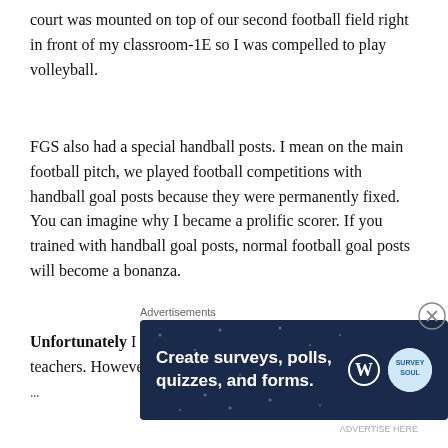court was mounted on top of our second football field right in front of my classroom-1E so I was compelled to play volleyball.
FGS also had a special handball posts. I mean on the main football pitch, we played football competitions with handball goal posts because they were permanently fixed. You can imagine why I became a prolific scorer. If you trained with handball goal posts, normal football goal posts will become a bonanza.
Unfortunately I don't remember the names of all of my teachers. However I must add that I returned to FGS in 1992 and worked there as a visiting...
Advertisements
[Figure (other): Advertisement banner with dark navy background and star pattern. Text reads: Create surveys, polls, quizzes, and forms. WordPress and SurveySoul logos visible.]